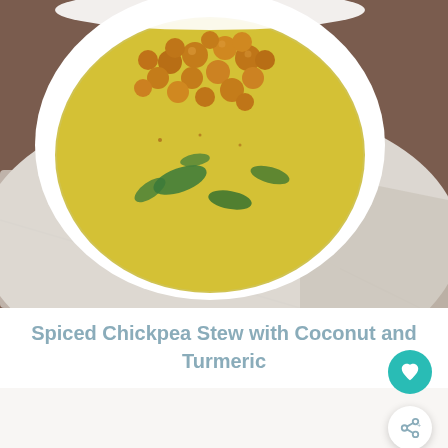[Figure (photo): Overhead view of a white bowl containing golden turmeric-colored broth with roasted chickpeas and green spinach leaves, placed on a white linen cloth against a brown surface]
Spiced Chickpea Stew with Coconut and Turmeric